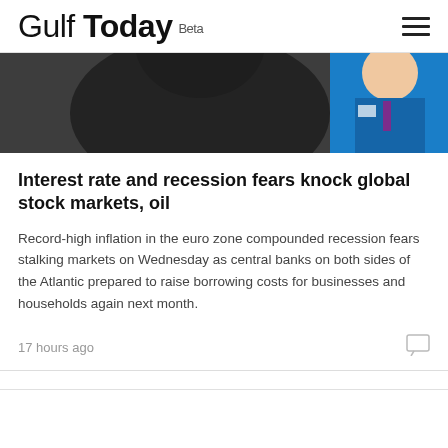Gulf Today Beta
[Figure (photo): A photograph showing two people, one in dark clothing and one in a blue uniform, possibly on a trading floor or financial environment.]
Interest rate and recession fears knock global stock markets, oil
Record-high inflation in the euro zone compounded recession fears stalking markets on Wednesday as central banks on both sides of the Atlantic prepared to raise borrowing costs for businesses and households again next month.
17 hours ago